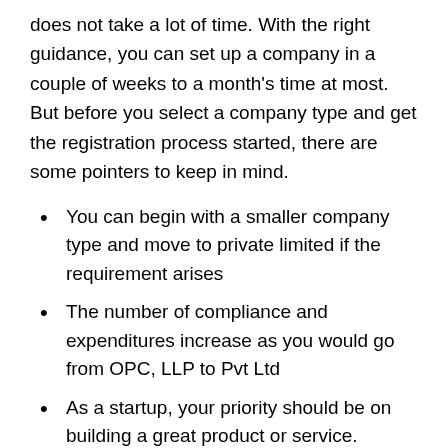does not take a lot of time. With the right guidance, you can set up a company in a couple of weeks to a month's time at most. But before you select a company type and get the registration process started, there are some pointers to keep in mind.
You can begin with a smaller company type and move to private limited if the requirement arises
The number of compliance and expenditures increase as you would go from OPC, LLP to Pvt Ltd
As a startup, your priority should be on building a great product or service. Overheads and compliance issues should be secondary, albeit not completely ignored
Outsource your taxation and compliance